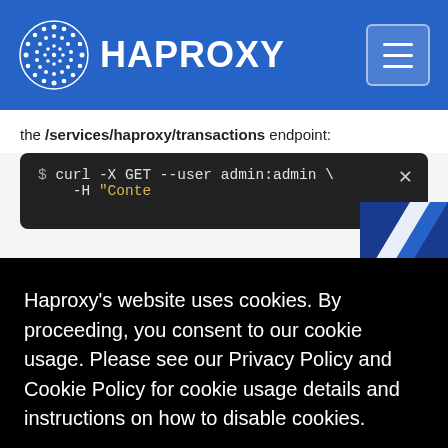HAPROXY
the /services/haproxy/transactions endpoint:
[Figure (screenshot): Dark terminal code block showing: $ curl -X GET --user admin:admin \ -H "Conte... with a close (×) button in the top right corner]
Haproxy's website uses cookies. By proceeding, you consent to our cookie usage. Please see our Privacy Policy and Cookie Policy for cookie usage details and instructions on how to disable cookies.
Privacy and Cookie Policy ↗
I Consent
transaction, add the transaction's id value as the